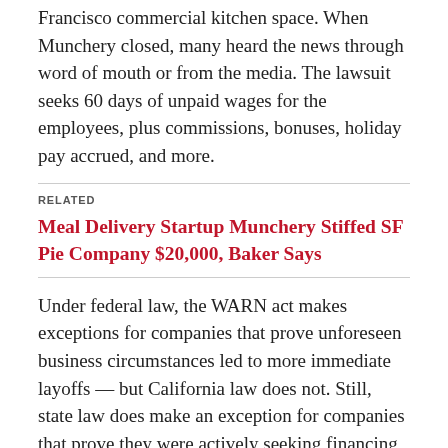Francisco commercial kitchen space. When Munchery closed, many heard the news through word of mouth or from the media. The lawsuit seeks 60 days of unpaid wages for the employees, plus commissions, bonuses, holiday pay accrued, and more.
RELATED
Meal Delivery Startup Munchery Stiffed SF Pie Company $20,000, Baker Says
Under federal law, the WARN act makes exceptions for companies that prove unforeseen business circumstances led to more immediate layoffs — but California law does not. Still, state law does make an exception for companies that prove they were actively seeking financing at the time of the layoffs, and demonstrate that giving employees notice would have jeopardized that potential investment.